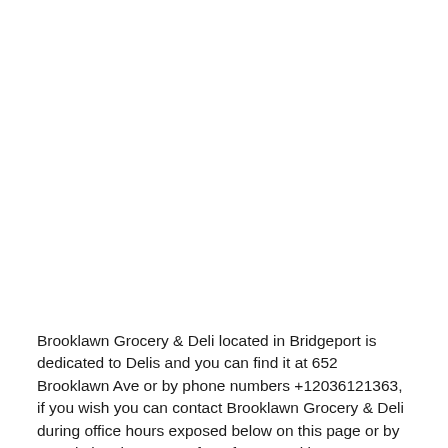Brooklawn Grocery & Deli located in Bridgeport is dedicated to Delis and you can find it at 652 Brooklawn Ave or by phone numbers +12036121363, if you wish you can contact Brooklawn Grocery & Deli during office hours exposed below on this page or by completing the contact form from Brooklawn Grocery & Deli 24 hours a day. Remember that in asdphone.com we offer you telephone numbers, address,